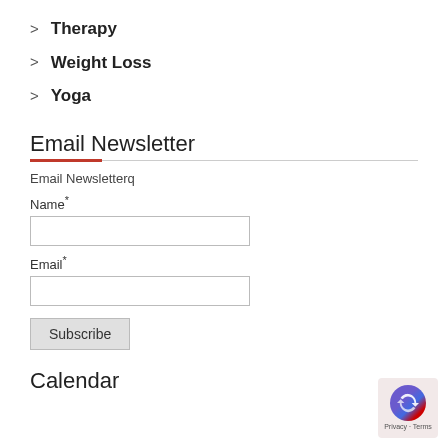> Therapy
> Weight Loss
> Yoga
Email Newsletter
Email Newsletterq
Name*
Email*
Subscribe
Calendar